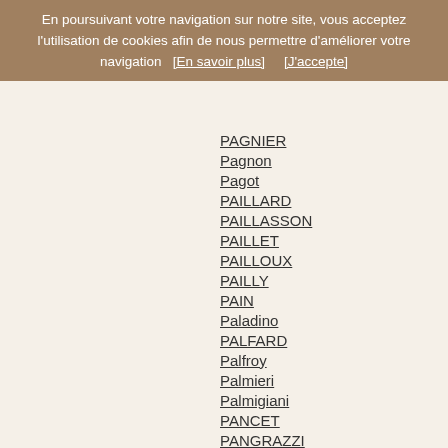En poursuivant votre navigation sur notre site, vous acceptez l'utilisation de cookies afin de nous permettre d'améliorer votre navigation   [En savoir plus]        [J'accepte]
PAGNIER
Pagnon
Pagot
PAILLARD
PAILLASSON
PAILLET
PAILLOUX
PAILLY
PAIN
Paladino
PALFARD
Palfroy
Palmieri
Palmigiani
PANCET
PANGRAZZI
PANISSET
PANISSOD
PANNETIER
PANOLIE
PANQUET